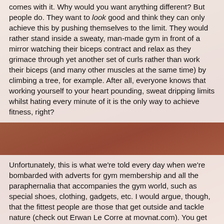comes with it. Why would you want anything different? But people do. They want to look good and think they can only achieve this by pushing themselves to the limit. They would rather stand inside a sweaty, man-made gym in front of a mirror watching their biceps contract and relax as they grimace through yet another set of curls rather than work their biceps (and many other muscles at the same time) by climbing a tree, for example. After all, everyone knows that working yourself to your heart pounding, sweat dripping limits whilst hating every minute of it is the only way to achieve fitness, right?
Unfortunately, this is what we're told every day when we're bombarded with adverts for gym membership and all the paraphernalia that accompanies the gym world, such as special shoes, clothing, gadgets, etc. I would argue, though, that the fittest people are those that get outside and tackle nature (check out Erwan Le Corre at movnat.com). You get some strange looks when you train like this though. David and I were practising some movement therapy up in Crystal Palace Park a few days ago - rolls, headstands and handstands, pull-ups on tree branches - and received